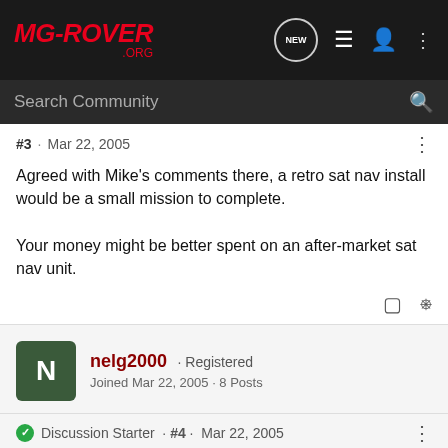MG-ROVER.ORG navigation bar with logo and icons
Search Community
#3 · Mar 22, 2005
Agreed with Mike's comments there, a retro sat nav install would be a small mission to complete.

Your money might be better spent on an after-market sat nav unit.
nelg2000 · Registered
Joined Mar 22, 2005 · 8 Posts
Discussion Starter · #4 · Mar 22, 2005